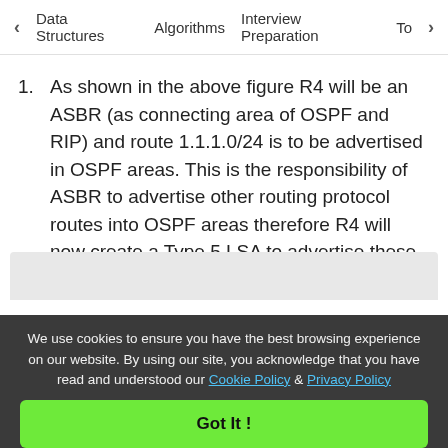< Data Structures   Algorithms   Interview Preparation   Top>
As shown in the above figure R4 will be an ASBR (as connecting area of OSPF and RIP) and route 1.1.1.0/24 is to be advertised in OSPF areas. This is the responsibility of ASBR to advertise other routing protocol routes into OSPF areas therefore R4 will now create a Type 5 LSA to advertise these route to all other OSPF areas.
We use cookies to ensure you have the best browsing experience on our website. By using our site, you acknowledge that you have read and understood our Cookie Policy & Privacy Policy
Got It !